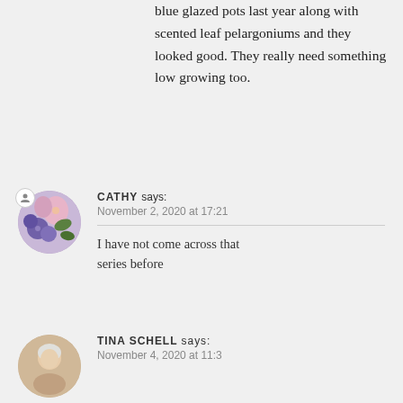blue glazed pots last year along with scented leaf pelargoniums and they looked good. They really need something low growing too.
[Figure (photo): Circular avatar photo of Cathy showing purple and pink flowers]
CATHY says: November 2, 2020 at 17:21
I have not come across that series before
[Figure (photo): Circular avatar photo of Tina Schell showing a person]
TINA SCHELL says: